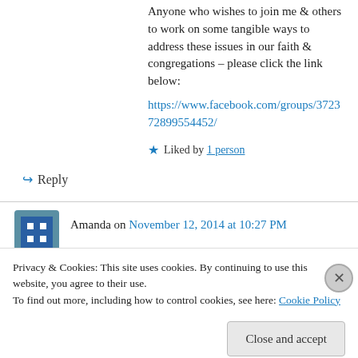Anyone who wishes to join me & others to work on some tangible ways to address these issues in our faith & congregations – please click the link below: https://www.facebook.com/groups/372372899554452/
★ Liked by 1 person
↪ Reply
Amanda on November 12, 2014 at 10:27 PM
Privacy & Cookies: This site uses cookies. By continuing to use this website, you agree to their use. To find out more, including how to control cookies, see here: Cookie Policy
Close and accept